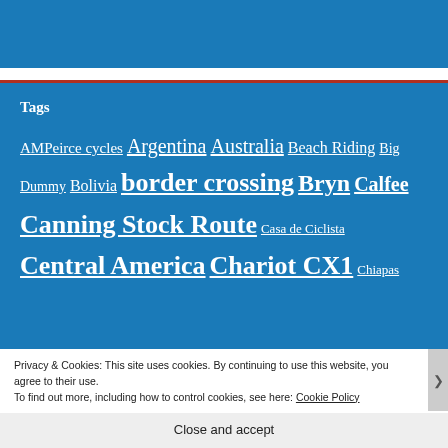[Figure (other): Blue banner/header bar at top of page]
Tags
AMPeirce cycles Argentina Australia Beach Riding Big Dummy Bolivia border crossing Bryn Calfee Canning Stock Route Casa de Ciclista Central America Chariot CX1 Chiapas
Privacy & Cookies: This site uses cookies. By continuing to use this website, you agree to their use.
To find out more, including how to control cookies, see here: Cookie Policy
Close and accept